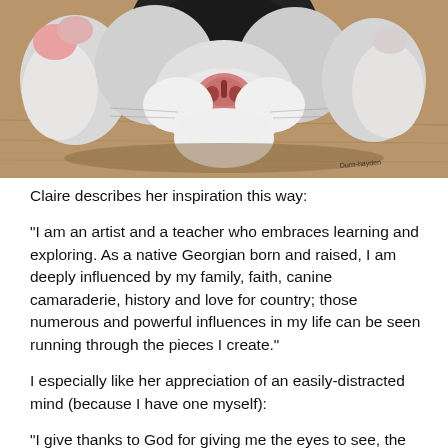[Figure (illustration): Painting of a dog (likely a Great Dane or similar breed) seen from the front, lying down with its muzzle resting on the ground, black and white fur with pink nose, on a brown wooden surface. Artist signature visible in lower right corner.]
Claire describes her inspiration this way:
“I am an artist and a teacher who embraces learning and exploring. As a native Georgian born and raised, I am deeply influenced by my family, faith, canine camaraderie, history and love for country; those numerous and powerful influences in my life can be seen running through the pieces I create.”
I especially like her appreciation of an easily-distracted mind (because I have one myself):
“I give thanks to God for giving me the eyes to see, the